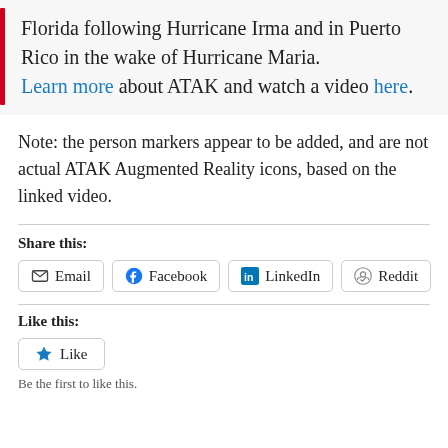Florida following Hurricane Irma and in Puerto Rico in the wake of Hurricane Maria. Learn more about ATAK and watch a video here.
Note: the person markers appear to be added, and are not actual ATAK Augmented Reality icons, based on the linked video.
Share this:
Email Facebook LinkedIn Reddit
Like this:
Like
Be the first to like this.